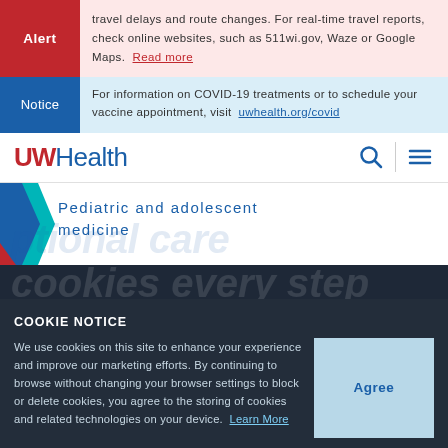Alert  travel delays and route changes. For real-time travel reports, check online websites, such as 511wi.gov, Waze or Google Maps.  Read more
Notice  For information on COVID-19 treatments or to schedule your vaccine appointment, visit  uwhealth.org/covid
UW Health
Pediatric and adolescent medicine
COOKIE NOTICE
We use cookies on this site to enhance your experience and improve our marketing efforts. By continuing to browse without changing your browser settings to block or delete cookies, you agree to the storing of cookies and related technologies on your device.  Learn More